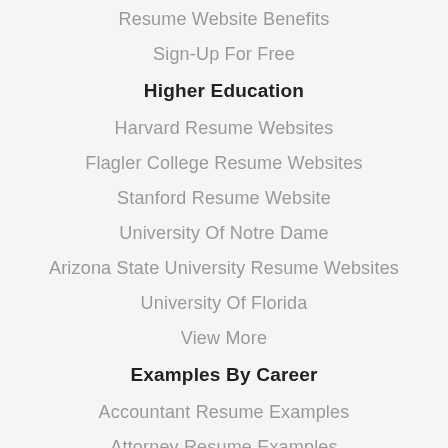Resume Website Benefits
Sign-Up For Free
Higher Education
Harvard Resume Websites
Flagler College Resume Websites
Stanford Resume Website
University Of Notre Dame
Arizona State University Resume Websites
University Of Florida
View More
Examples By Career
Accountant Resume Examples
Attorney Resume Examples